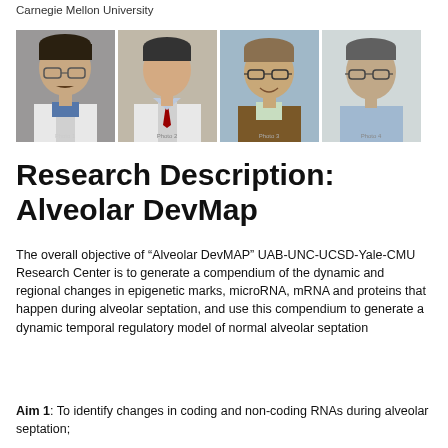Carnegie Mellon University
[Figure (photo): Four headshot photos of researchers side by side]
Research Description: Alveolar DevMap
The overall objective of “Alveolar DevMAP” UAB-UNC-UCSD-Yale-CMU Research Center is to generate a compendium of the dynamic and regional changes in epigenetic marks, microRNA, mRNA and proteins that happen during alveolar septation, and use this compendium to generate a dynamic temporal regulatory model of normal alveolar septation
Aim 1: To identify changes in coding and non-coding RNAs during alveolar septation;